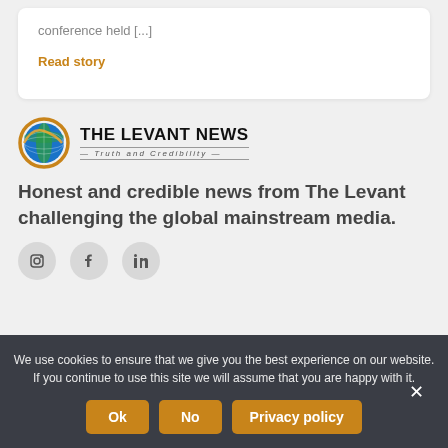conference held [...]
Read story
[Figure (logo): The Levant News logo with globe icon and tagline 'Truth and Credibility']
Honest and credible news from The Levant challenging the global mainstream media.
[Figure (infographic): Three social media icon circles (Instagram, Facebook, LinkedIn)]
We use cookies to ensure that we give you the best experience on our website. If you continue to use this site we will assume that you are happy with it.
Ok  No  Privacy policy